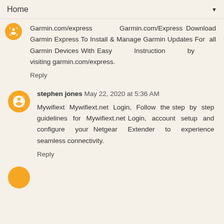Home
Garmin.com/express  Garmin.com/Express Download Garmin Express To Install & Manage Garmin Updates For all Garmin Devices With Easy Instruction by visiting garmin.com/express.
Reply
stephen jones May 22, 2020 at 5:36 AM
Mywifiext Mywifiext.net Login, Follow the step by step guidelines for Mywifiext.net Login, account setup and configure your Netgear Extender to experience seamless connectivity.
Reply